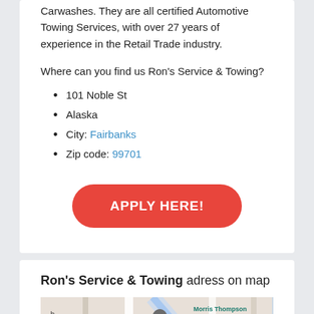Carwashes. They are all certified Automotive Towing Services, with over 27 years of experience in the Retail Trade industry.
Where can you find us Ron's Service & Towing?
101 Noble St
Alaska
City: Fairbanks
Zip code: 99701
[Figure (other): Red rounded button with white text 'APPLY HERE!']
Ron's Service & Towing adress on map
[Figure (map): Google Maps view showing Fairbanks area with Morris Thompson Cultural & Visitors Center label, orange and grey location pins]